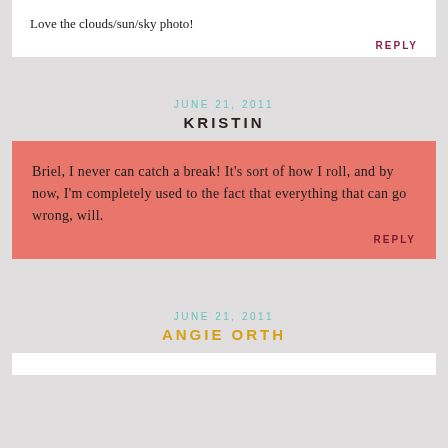Love the clouds/sun/sky photo!
REPLY
JUNE 21, 2011
KRISTIN
Briel, I never can catch a break! It's sort of how I roll, and by now, I'm completely used to the fact that everything that can go wrong, will.
REPLY
JUNE 21, 2011
ANGIE ORTH